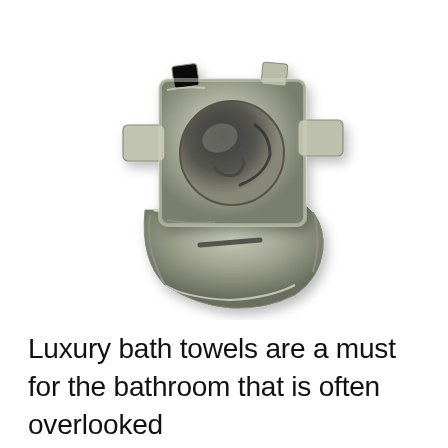[Figure (photo): A metal speed nut / cage nut fastener photographed on a white background. The part is a stamped galvanized steel clip nut with a cross-shaped plate on top containing a circular opening, and a curved spring clip base underneath.]
Luxury bath towels are a must for the bathroom that is often overlooked